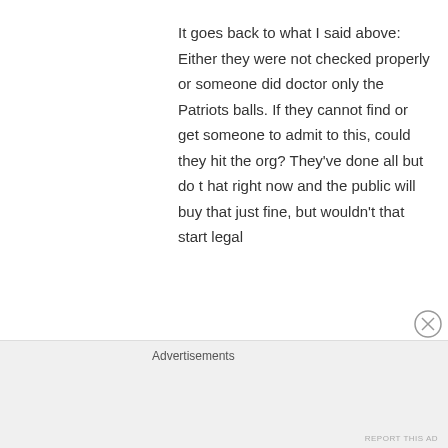It goes back to what I said above: Either they were not checked properly or someone did doctor only the Patriots balls. If they cannot find or get someone to admit to this, could they hit the org? They've done all but do t hat right now and the public will buy that just fine, but wouldn't that start legal
Advertisements